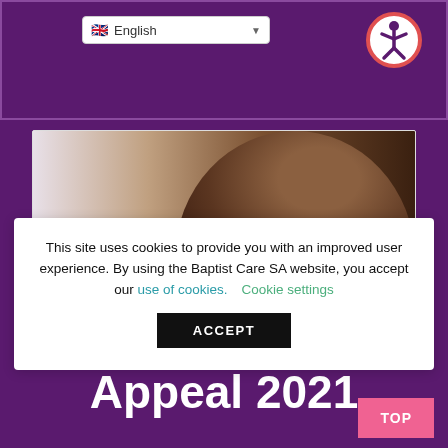English [language selector] [accessibility icon]
[Figure (photo): Close-up photo of a child's hair, dark brown, against a light background]
This site uses cookies to provide you with an improved user experience. By using the Baptist Care SA website, you accept our use of cookies. Cookie settings
ACCEPT
Christmas Toy Appeal 2021
TOP